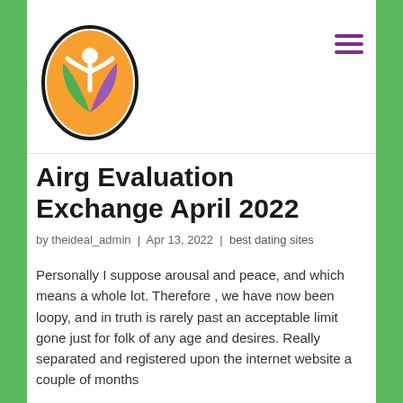[Figure (logo): Circular logo with orange top, white human figure with arms raised, green leaf on left, purple leaf on right, black oval outline]
Airg Evaluation Exchange April 2022
by theideal_admin | Apr 13, 2022 | best dating sites
Personally I suppose arousal and peace, and which means a whole lot. Therefore , we have now been loopy, and in truth is rarely past an acceptable limit gone just for folk of any age and desires. Really separated and registered upon the internet website a couple of months